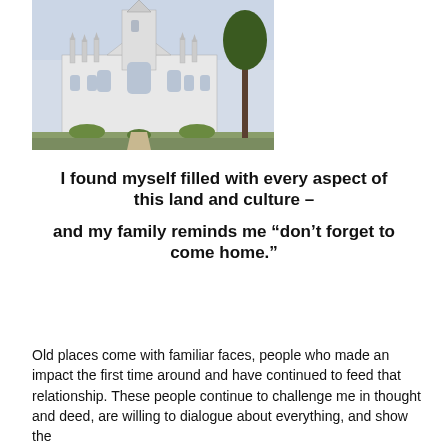[Figure (photo): Photograph of a large Gothic-style white church building with a tall central tower, arched windows, and surrounded by trees and grounds.]
I found myself filled with every aspect of this land and culture – and my family reminds me “don’t forget to come home.”
Old places come with familiar faces, people who made an impact the first time around and have continued to feed that relationship. These people continue to challenge me in thought and deed, are willing to dialogue about everything, and show the